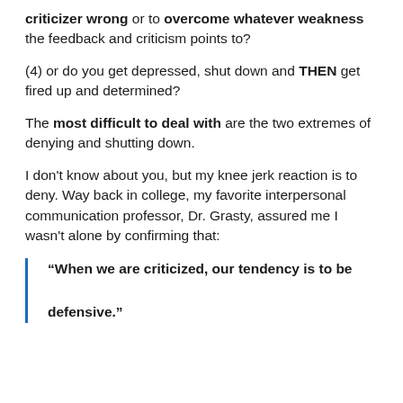criticizer wrong or to overcome whatever weakness the feedback and criticism points to?
(4) or do you get depressed, shut down and THEN get fired up and determined?
The most difficult to deal with are the two extremes of denying and shutting down.
I don't know about you, but my knee jerk reaction is to deny. Way back in college, my favorite interpersonal communication professor, Dr. Grasty, assured me I wasn't alone by confirming that:
“When we are criticized, our tendency is to be defensive.”